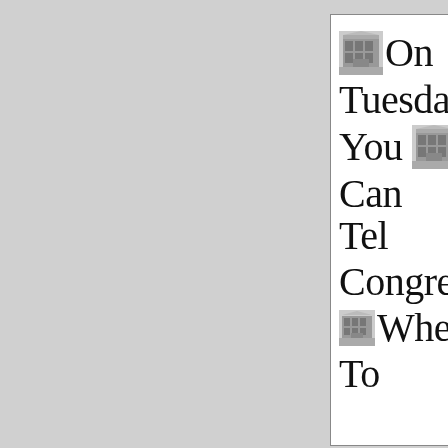On Tuesday You Can Tell Congress Whe... To...